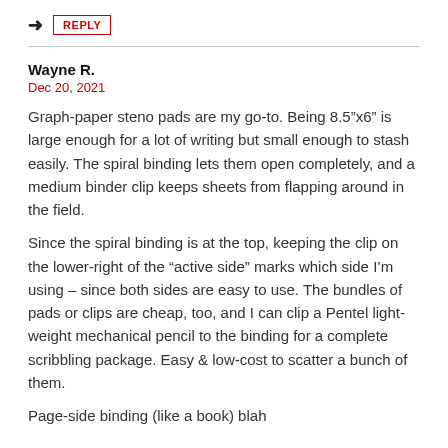REPLY
Wayne R.
Dec 20, 2021
Graph-paper steno pads are my go-to. Being 8.5"x6" is large enough for a lot of writing but small enough to stash easily. The spiral binding lets them open completely, and a medium binder clip keeps sheets from flapping around in the field.
Since the spiral binding is at the top, keeping the clip on the lower-right of the “active side” marks which side I’m using – since both sides are easy to use. The bundles of pads or clips are cheap, too, and I can clip a Pentel light-weight mechanical pencil to the binding for a complete scribbling package. Easy & low-cost to scatter a bunch of them.
Page-side binding (like a book) blah...